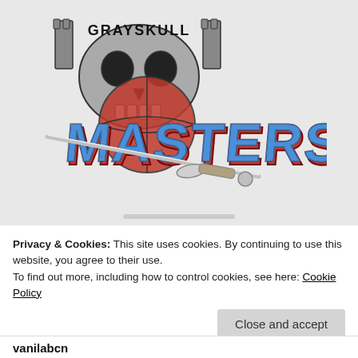[Figure (logo): Grayskull Masters logo featuring a castle skull face at the top with the word GRAYSKULL above it, and a large stylized MASTERS text in blue with red 3D shadow effect, crossed by a fantasy sword diagonally.]
Privacy & Cookies: This site uses cookies. By continuing to use this website, you agree to their use.
To find out more, including how to control cookies, see here: Cookie Policy
Close and accept
vanilabcn